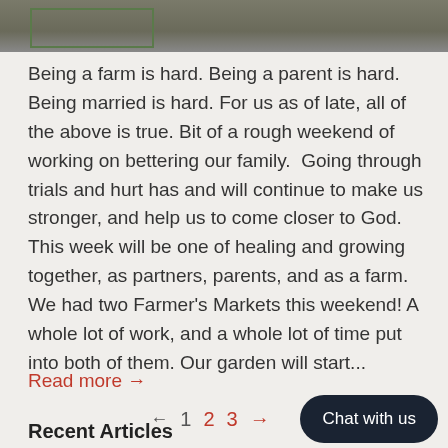[Figure (photo): Partial photo strip at top of page showing a green-bordered shape on a muted background]
Being a farm is hard. Being a parent is hard. Being married is hard. For us as of late, all of the above is true. Bit of a rough weekend of working on bettering our family. Going through trials and hurt has and will continue to make us stronger, and help us to come closer to God. This week will be one of healing and growing together, as partners, parents, and as a farm. We had two Farmer's Markets this weekend! A whole lot of work, and a whole lot of time put into both of them. Our garden will start...
Read more →
← 1 2 3 →
Chat with us
Recent Articles
Our Purpose